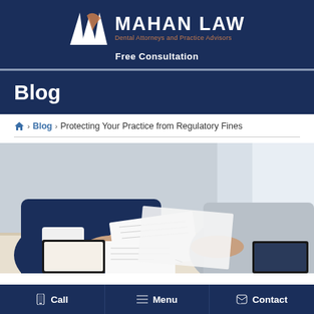[Figure (logo): Mahan Law logo with stylized M in white and copper/orange on dark navy background, with text 'MAHAN LAW' and subtitle 'Dental Attorneys and Practice Advisors']
Free Consultation
Blog
Home > Blog > Protecting Your Practice from Regulatory Fines
[Figure (photo): Two people at a desk, one in a dark navy suit reviewing documents, another person in a grey shirt also at the table with papers and a clipboard]
Call   Menu   Contact